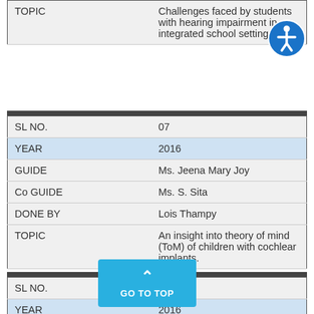| Field | Value |
| --- | --- |
| TOPIC | Challenges faced by students with hearing impairment in integrated school setting |
| Field | Value |
| --- | --- |
| SL NO. | 07 |
| YEAR | 2016 |
| GUIDE | Ms. Jeena Mary Joy |
| Co GUIDE | Ms. S. Sita |
| DONE BY | Lois Thampy |
| TOPIC | An insight into theory of mind (ToM) of children with cochlear implants. |
| Field | Value |
| --- | --- |
| SL NO. | 08 |
| YEAR | 2016 |
| GUIDE | ...a K. Kunnath |
| Co GUIDE | ...kshmi S. Mohan |